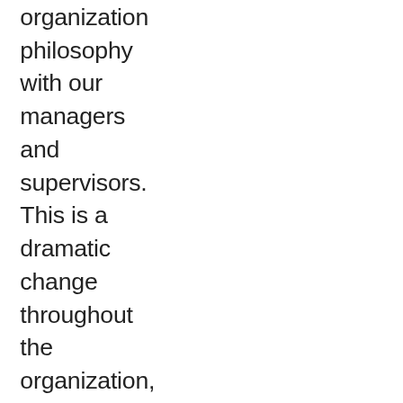organization philosophy with our managers and supervisors.  This is a dramatic change throughout the organization, but one that is necessary.  We start each training session with an open discussion about any issues or concerns managers and supervisors are facing and as a group currently developing metrics for the organization.  Training is necessary for the growth and development our workforce, make training a priority in your organization!
Share this:
[Figure (other): Twitter and Facebook social sharing icon buttons (circular blue icons)]